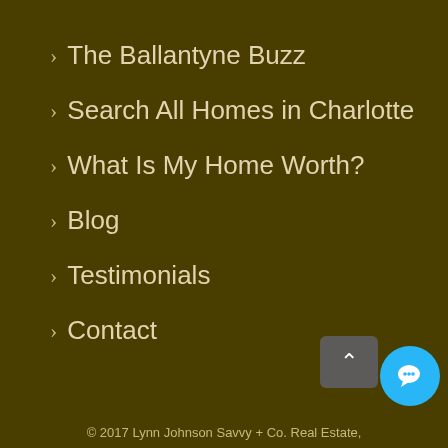> The Ballantyne Buzz
> Search All Homes in Charlotte
> What Is My Home Worth?
> Blog
> Testimonials
> Contact
© 2017 Lynn Johnson Savvy + Co. Real Estate,